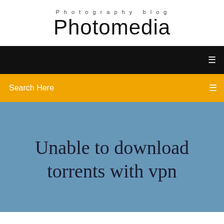Photography blog
Photomedia
Search Here
Unable to download torrents with vpn